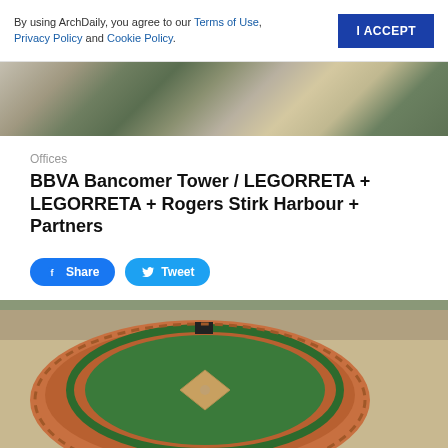By using ArchDaily, you agree to our Terms of Use, Privacy Policy and Cookie Policy.
I ACCEPT
[Figure (photo): Aerial view of a city with modern office buildings and green trees]
Offices
BBVA Bancomer Tower / LEGORRETA + LEGORRETA + Rogers Stirk Harbour + Partners
Share
Tweet
[Figure (photo): Aerial view of a baseball stadium with distinctive curved red/brown roof structure, green field visible, surrounded by arid landscape]